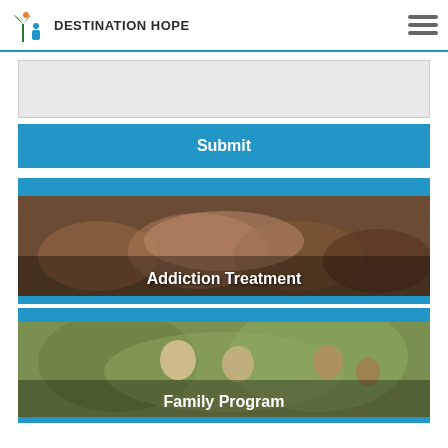DESTINATION HOPE
[Figure (screenshot): Gray form input field placeholder]
Submit
[Figure (photo): Hands joined together in a circle representing addiction treatment community support, with text 'Addiction Treatment']
[Figure (photo): Family viewed from behind in outdoor setting with children, with text 'Family Program']